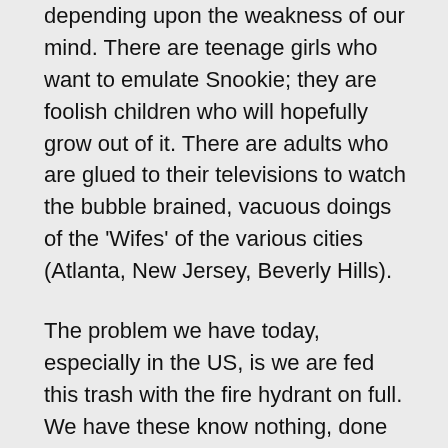depending upon the weakness of our mind. There are teenage girls who want to emulate Snookie; they are foolish children who will hopefully grow out of it. There are adults who are glued to their televisions to watch the bubble brained, vacuous doings of the 'Wifes' of the various cities (Atlanta, New Jersey, Beverly Hills).
The problem we have today, especially in the US, is we are fed this trash with the fire hydrant on full. We have these know nothing, done nothing famous for being ignorant / famous for having sex on